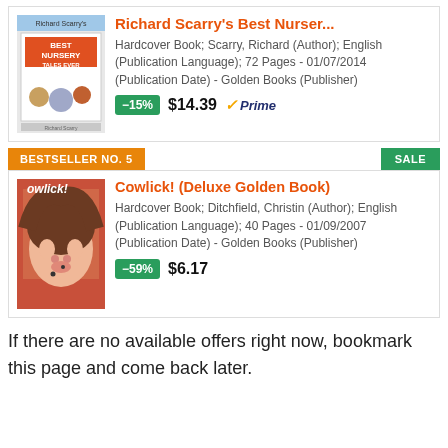Richard Scarry's Best Nurser...
Hardcover Book; Scarry, Richard (Author); English (Publication Language); 72 Pages - 01/07/2014 (Publication Date) - Golden Books (Publisher)
-15%  $14.39  Prime
BESTSELLER NO. 5
SALE
Cowlick! (Deluxe Golden Book)
Hardcover Book; Ditchfield, Christin (Author); English (Publication Language); 40 Pages - 01/09/2007 (Publication Date) - Golden Books (Publisher)
-59%  $6.17
If there are no available offers right now, bookmark this page and come back later.